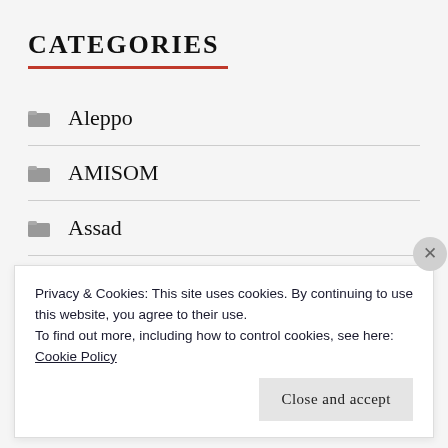CATEGORIES
Aleppo
AMISOM
Assad
Charlie Hebdo
Privacy & Cookies: This site uses cookies. By continuing to use this website, you agree to their use.
To find out more, including how to control cookies, see here:
Cookie Policy
Close and accept